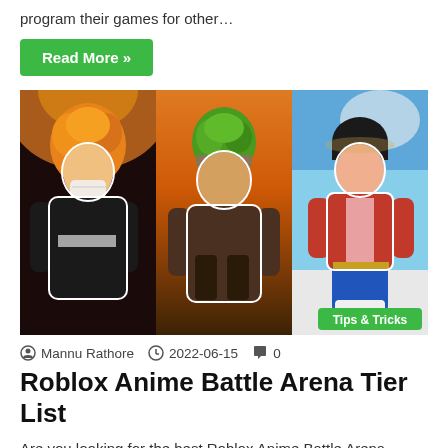program their games for other…
Read More »
[Figure (photo): Three Roblox anime character figures side by side: left character with orange spiky hair and black outfit (Bleach-inspired), middle character with green hair and brown ninja outfit (Naruto-inspired), right character with black hair in red jacket and blue shorts (One Piece-inspired). A 'Tips & Tricks' green badge is in the bottom right corner.]
Mannu Rathore  2022-06-15  0
Roblox Anime Battle Arena Tier List
Are you looking for the best Roblox Anime Battle Arena characters? If so, you're at the right place.  Anime Battle…
Read More »